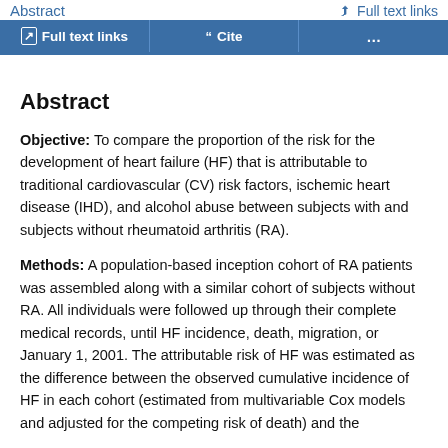Abstract | Full text links | Cite | ...
Abstract
Objective: To compare the proportion of the risk for the development of heart failure (HF) that is attributable to traditional cardiovascular (CV) risk factors, ischemic heart disease (IHD), and alcohol abuse between subjects with and subjects without rheumatoid arthritis (RA).
Methods: A population-based inception cohort of RA patients was assembled along with a similar cohort of subjects without RA. All individuals were followed up through their complete medical records, until HF incidence, death, migration, or January 1, 2001. The attributable risk of HF was estimated as the difference between the observed cumulative incidence of HF in each cohort (estimated from multivariable Cox models and adjusted for the competing risk of death) and the